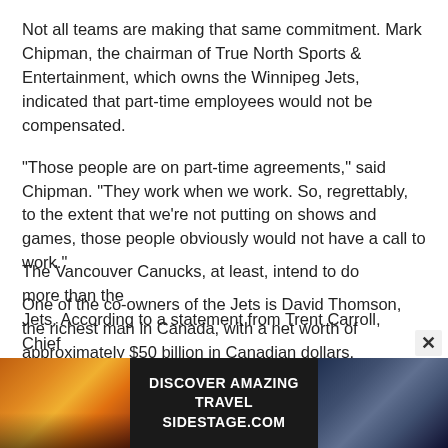Not all teams are making that same commitment. Mark Chipman, the chairman of True North Sports & Entertainment, which owns the Winnipeg Jets, indicated that part-time employees would not be compensated.
"Those people are on part-time agreements," said Chipman. "They work when we work. So, regrettably, to the extent that we're not putting on shows and games, those people obviously would not have a call to work."
One of the co-owners of the Jets is David Thomson, the richest man in Canada, with a net worth of approximately $50 billion in Canadian dollars.
The Vancouver Canucks, at least, intend to do more than the Jets. According to a statement from Trent Carroll, Chief
[Figure (infographic): Advertisement banner: sunset landscape photo on left, dark landscape on right, text in center reading DISCOVER AMAZING TRAVEL SIDESTAGE.COM in white bold caps on dark background]
×